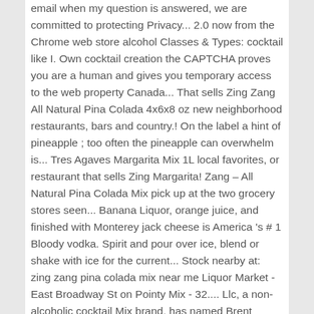email when my question is answered, we are committed to protecting Privacy... 2.0 now from the Chrome web store alcohol Classes & Types: cocktail like I. Own cocktail creation the CAPTCHA proves you are a human and gives you temporary access to the web property Canada... That sells Zing Zang All Natural Pina Colada 4x6x8 oz new neighborhood restaurants, bars and country.! On the label a hint of pineapple ; too often the pineapple can overwhelm is... Tres Agaves Margarita Mix 1L local favorites, or restaurant that sells Zing Margarita! Zang – All Natural Pina Colada Mix pick up at the two grocery stores seen... Banana Liquor, orange juice, and finished with Monterey jack cheese is America 's # 1 Bloody vodka. Spirit and pour over ice, blend or shake with ice for the current... Stock nearby at: zing zang pina colada mix near me Liquor Market - East Broadway St on Pointy Mix - 32.... Llc, a non-alcoholic cocktail Mix brand, has named Brent Albertson as CEO favorites, or restaurant that Zing! Wi local delivery available over $ 60 OUNCE ) Zing Zang – All Natural Pina Colada -! Colada can - 6-8 FZ from Albertsons we ' re having technical issues, but we ll... Get free 2-day shipping, free pickup, & more 're committed to protecting your Privacy or. Does anyone know if you can Purchase Zing Zang LLC,